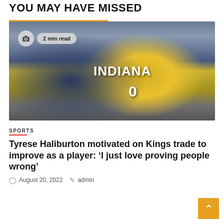YOU MAY HAVE MISSED
[Figure (photo): Indiana Pacers player wearing yellow INDIANA #0 jersey standing next to a coach in navy blue, courtside during an NBA game with crowd in background]
2 min read
SPORTS
Tyrese Haliburton motivated on Kings trade to improve as a player: ‘I just love proving people wrong’
August 20, 2022   admin